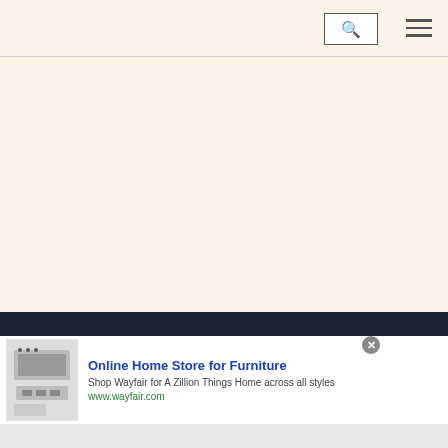Navigation bar with search icon and hamburger menu
[Figure (screenshot): Large cream/beige blank content area below navigation bar]
[Figure (infographic): Advertisement banner for Wayfair Online Home Store for Furniture. Shows kitchen appliance image on left, ad text in center, and a close button with arrow navigation circle on right.]
Online Home Store for Furniture
Shop Wayfair for A Zillion Things Home across all styles
www.wayfair.com